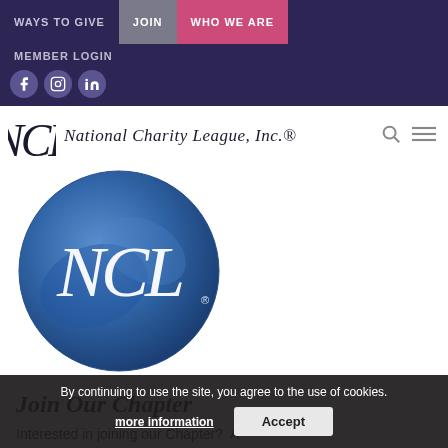WAYS TO GIVE | JOIN | WHO WE ARE | MEMBER LOGIN
[Figure (logo): National Charity League, Inc. logo with monogram and cursive text, plus circular NCL blue emblem]
Join Our Chapter
Interested in joining our Chapter? A Prospective Member must be sponsored by a
By continuing to use the site, you agree to the use of cookies. more information  Accept